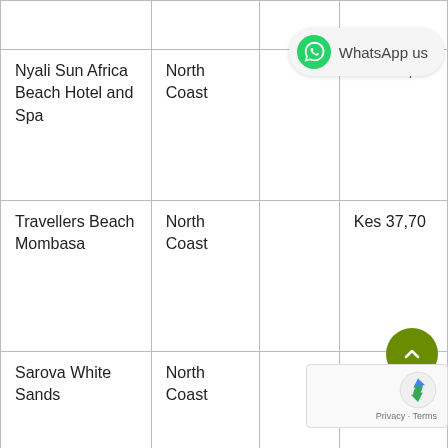| Hotel | Location |  | Price |
| --- | --- | --- | --- |
|  |  |  |  |
| Nyali Sun Africa Beach Hotel and Spa | North Coast |  | Kes 21,7… |
| Travellers Beach Mombasa | North Coast |  | Kes 37,70… |
| Sarova White Sands | North Coast |  | Kes… |